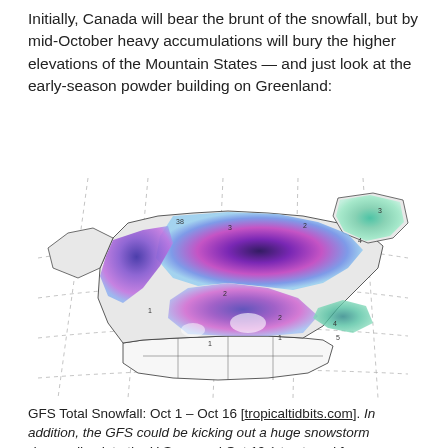Initially, Canada will bear the brunt of the snowfall, but by mid-October heavy accumulations will bury the higher elevations of the Mountain States — and just look at the early-season powder building on Greenland:
[Figure (map): GFS Total Snowfall map (Oct 1 – Oct 16) showing snow accumulation across Canada and northern North America, with heavy purple/blue/magenta/teal coloring indicating snowfall amounts, concentrated heavily across Canada and Greenland, with lighter coverage in the northern continental US.]
GFS Total Snowfall: Oct 1 – Oct 16 [tropicaltidbits.com]. In addition, the GFS could be kicking out a huge snowstorm descending into the U.S. around Oct 19 (stay tuned for